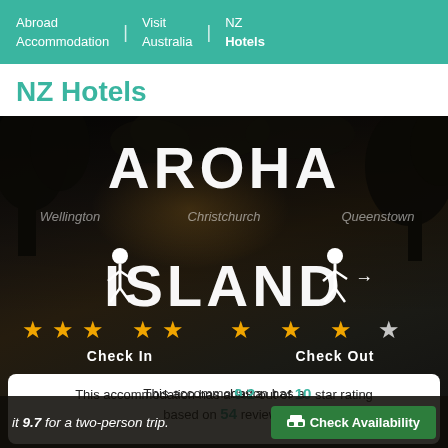Abroad Accommodation | Visit Australia | NZ Hotels
NZ Hotels
[Figure (photo): Tropical dark silhouette scene with large text overlay reading AROHA ISLAND, star ratings, check-in/check-out icons, and navigation links (Wellington, Christchurch, Queenstown) overlaid on a dark tropical background with warm backlighting through trees.]
This accommodation has a 9.2 out of 10 star rating based on 54 reviews
Zealand
it 9.7 for a two-person trip.
Check Availability